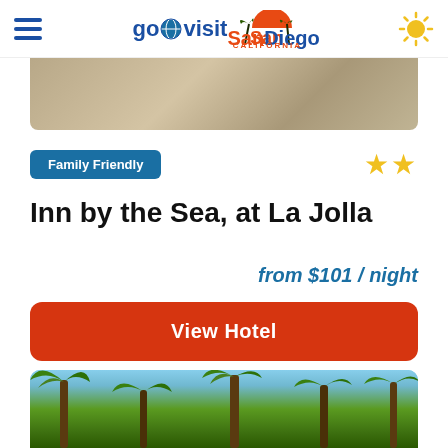go visit San Diego CALIFORNIA
[Figure (photo): Top portion of hotel exterior image, sandy/warm tones]
Family Friendly
★★
Inn by the Sea, at La Jolla
from $101 / night
View Hotel
[Figure (photo): Palm trees against blue sky]